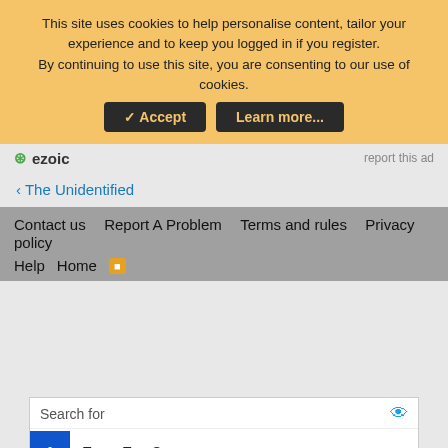This site uses cookies to help personalise content, tailor your experience and to keep you logged in if you register. By continuing to use this site, you are consenting to our use of cookies.
✓ Accept   Learn more...
ezoic   report this ad
< The Unidentified
Contact us   Report A Problem   Terms and rules   Privacy policy   Help   Home   RSS
[Figure (other): Ad search widget with two search results: 1. Faux Fur Coats, 2. Faux Fur Jacket]
Search for
1  Faux Fur Coats
2  Faux Fur Jacket